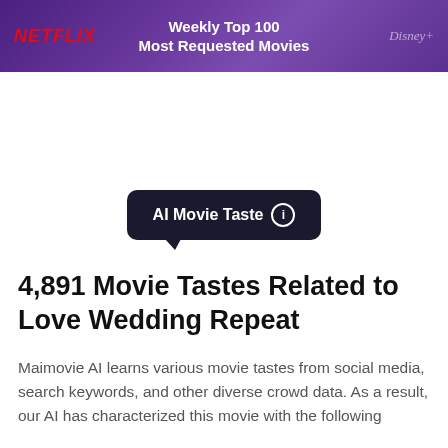[Figure (infographic): Purple banner with Netflix logo on left, 'Weekly Top 100 Most Requested Movies' text in center, Disney+ logo on right]
[Figure (infographic): Dark pill/badge shape with speech bubble tail reading 'AI Movie Taste' with an info circle icon]
4,891 Movie Tastes Related to Love Wedding Repeat
Maimovie AI learns various movie tastes from social media, search keywords, and other diverse crowd data. As a result, our AI has characterized this movie with the following